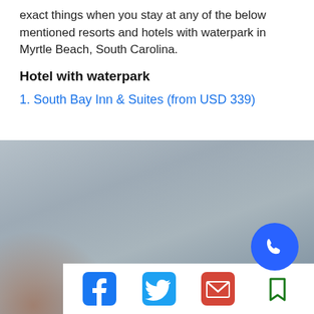exact things when you stay at any of the below mentioned resorts and hotels with waterpark in Myrtle Beach, South Carolina.
Hotel with waterpark
1. South Bay Inn & Suites (from USD 339)
[Figure (photo): Blurred outdoor photo of a hotel or resort area, muted blue-grey and brown tones, partially visible building exterior]
[Figure (infographic): Social sharing bar with Facebook, Twitter, email, and bookmark icons; blue call button overlay]